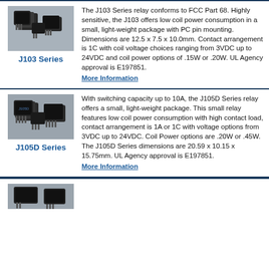[Figure (photo): Photo of J103 Series relay components on grey background]
J103 Series
The J103 Series relay conforms to FCC Part 68. Highly sensitive, the J103 offers low coil power consumption in a small, light-weight package with PC pin mounting. Dimensions are 12.5 x 7.5 x 10.0mm. Contact arrangement is 1C with coil voltage choices ranging from 3VDC up to 24VDC and coil power options of .15W or .20W. UL Agency approval is E197851.
More Information
[Figure (photo): Photo of J105D Series relay components on grey background]
J105D Series
With switching capacity up to 10A, the J105D Series relay offers a small, light-weight package. This small relay features low coil power consumption with high contact load, contact arrangement is 1A or 1C with voltage options from 3VDC up to 24VDC. Coil Power options are .20W or .45W. The J105D Series dimensions are 20.59 x 10.15 x 15.75mm. UL Agency approval is E197851.
More Information
[Figure (photo): Partial photo of a third relay series at bottom of page]